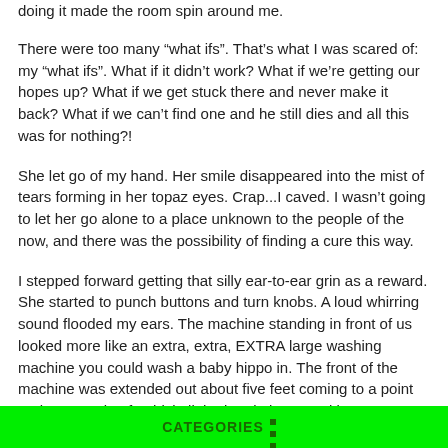doing it made the room spin around me.
There were too many “what ifs”. That’s what I was scared of: my “what ifs”. What if it didn’t work? What if we’re getting our hopes up? What if we get stuck there and never make it back? What if we can’t find one and he still dies and all this was for nothing?!
She let go of my hand. Her smile disappeared into the mist of tears forming in her topaz eyes. Crap...I caved. I wasn’t going to let her go alone to a place unknown to the people of the now, and there was the possibility of finding a cure this way.
I stepped forward getting that silly ear-to-ear grin as a reward. She started to punch buttons and turn knobs. A loud whirring sound flooded my ears. The machine standing in front of us looked more like an extra, extra, EXTRA large washing machine you could wash a baby hippo in. The front of the machine was extended out about five feet coming to a point and was made of a thick, light tinted glass. Looking
CATEGORIES